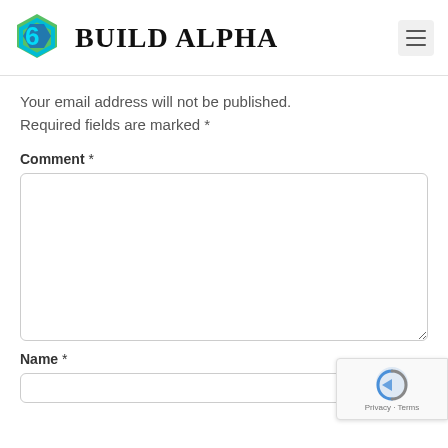BUILD ALPHA
Your email address will not be published. Required fields are marked *
Comment *
Name *
[Figure (logo): reCAPTCHA badge with Privacy - Terms text]